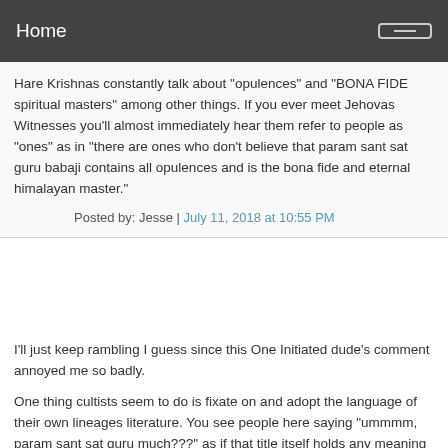Home
Hare Krishnas constantly talk about "opulences" and "BONA FIDE spiritual masters" among other things. If you ever meet Jehovas Witnesses you'll almost immediately hear them refer to people as "ones" as in "there are ones who don't believe that param sant sat guru babaji contains all opulences and is the bona fide and eternal himalayan master."
Posted by: Jesse | July 11, 2018 at 10:55 PM
I'll just keep rambling I guess since this One Initiated dude's comment annoyed me so badly.
One thing cultists seem to do is fixate on and adopt the language of their own lineages literature. You see people here saying "ummmm, param sant sat guru much???" as if that title itself holds any meaning outside of the cult.
Talk to Self Realization Fellowship followers and you'll